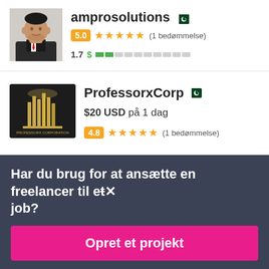[Figure (photo): Profile photo of amprosolutions user — man in suit on white background]
amprosolutions 🇵🇰
5.0 ★★★★★ (1 bedømmelse)
1.7  $ ██░░░░░░░░
[Figure (logo): ProfessorxCorp logo — gold building graphic on dark background]
ProfessorxCorp 🇵🇰
$20 USD på 1 dag
4.8 ★★★★★ (1 bedømmelse)
Har du brug for at ansætte en freelancer til et job?
Opret et projekt